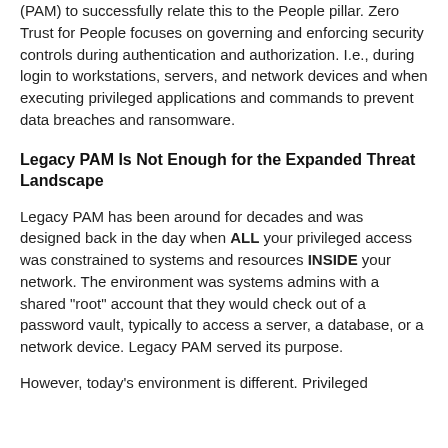(PAM) to successfully relate this to the People pillar. Zero Trust for People focuses on governing and enforcing security controls during authentication and authorization. I.e., during login to workstations, servers, and network devices and when executing privileged applications and commands to prevent data breaches and ransomware.
Legacy PAM Is Not Enough for the Expanded Threat Landscape
Legacy PAM has been around for decades and was designed back in the day when ALL your privileged access was constrained to systems and resources INSIDE your network. The environment was systems admins with a shared "root" account that they would check out of a password vault, typically to access a server, a database, or a network device. Legacy PAM served its purpose.
However, today's environment is different. Privileged